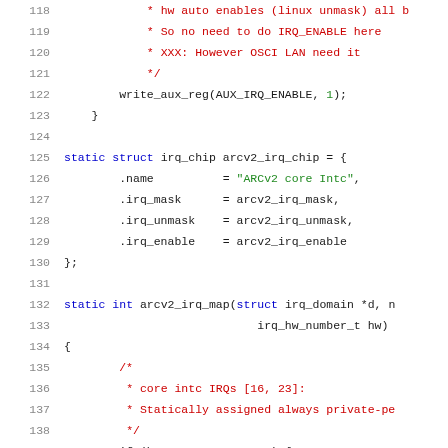[Figure (screenshot): Source code listing in C (Linux kernel IRQ chip driver), lines 118-139, showing write_aux_reg call, arcv2_irq_chip struct definition with .name, .irq_mask, .irq_unmask, .irq_enable fields, and beginning of arcv2_irq_map function. Syntax highlighted with blue keywords, red comments, green strings/numbers.]